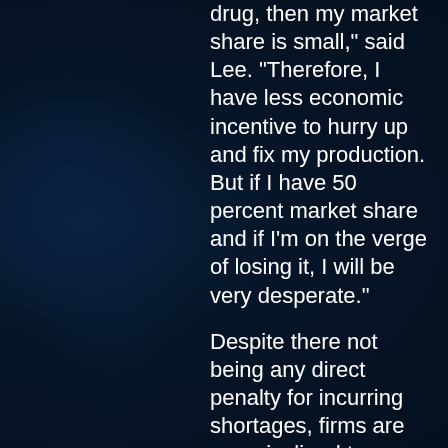drug, then my market share is small," said Lee. "Therefore, I have less economic incentive to hurry up and fix my production. But if I have 50 percent market share and if I'm on the verge of losing it, I will be very desperate."
Despite there not being any direct penalty for incurring shortages, firms are more inclined to